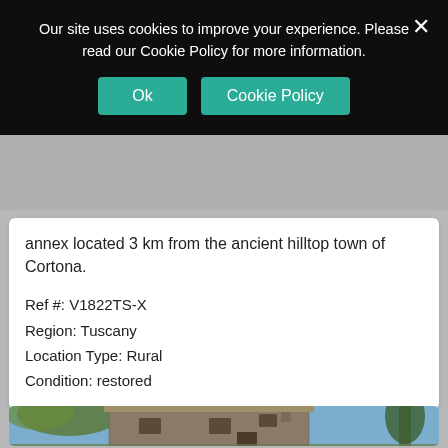Our site uses cookies to improve your experience. Please read our Cookie Policy for more information.
Ok | Cookie Policy
annex located 3 km from the ancient hilltop town of Cortona.
Ref #: V1822TS-X
Region: Tuscany
Location Type: Rural
Condition: restored
[Figure (photo): Exterior photo of a restored stone farmhouse in a rural Tuscan setting, surrounded by trees under a blue sky.]